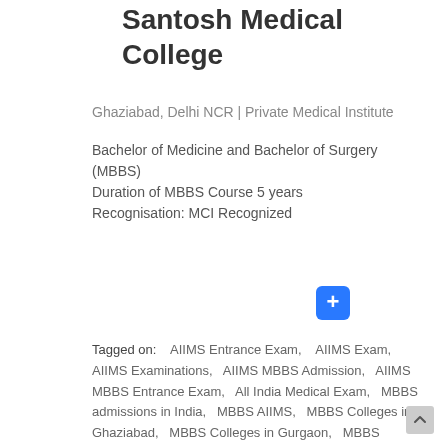Santosh Medical College
Ghaziabad, Delhi NCR | Private Medical Institute
Bachelor of Medicine and Bachelor of Surgery (MBBS)
Duration of MBBS Course 5 years
Recognisation: MCI Recognized
[Figure (other): Blue rounded square button with a white plus (+) sign]
Tagged on:    AIIMS Entrance Exam,    AIIMS Exam,    AIIMS Examinations,    AIIMS MBBS Admission,    AIIMS MBBS Entrance Exam,    All India Medical Exam,    MBBS admissions in India,    MBBS AIIMS,    MBBS Colleges in Ghaziabad,    MBBS Colleges in Gurgaon,    MBBS Colleges in Noida,    MBBS Entrance,    MBBS entrance exam,    mbbs fees,    MBBS Fees in Delhi,    MBBS Fees in Delhi NCR